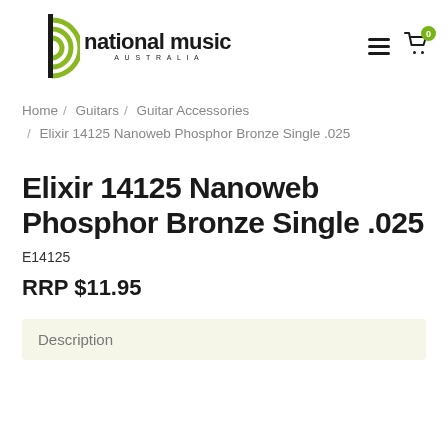[Figure (logo): National Music Australia logo with green concentric circle wave graphic and bold text 'national music' with 'AUSTRALIA' subtitle]
Home / Guitars / Guitar Accessories / Elixir 14125 Nanoweb Phosphor Bronze Single .025
Elixir 14125 Nanoweb Phosphor Bronze Single .025
E14125
RRP $11.95
Description